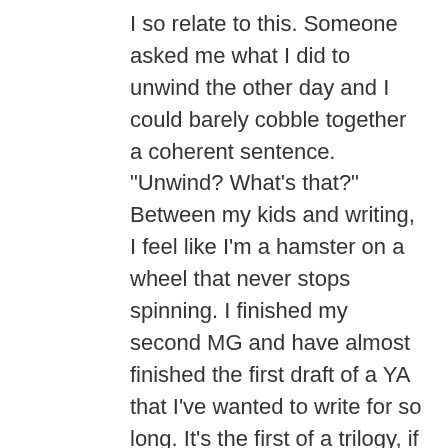I so relate to this. Someone asked me what I did to unwind the other day and I could barely cobble together a coherent sentence. "Unwind? What's that?" Between my kids and writing, I feel like I'm a hamster on a wheel that never stops spinning. I finished my second MG and have almost finished the first draft of a YA that I've wanted to write for so long. It's the first of a trilogy, if I'm lucky enough to get it published, and I have to admit, there have been times that I've thought: "You know, if this doesn't get picked up, then I won't have to deal with anymore crazy deadlines..." I've had to take time away from social media, it just makes me more and more stressed. And